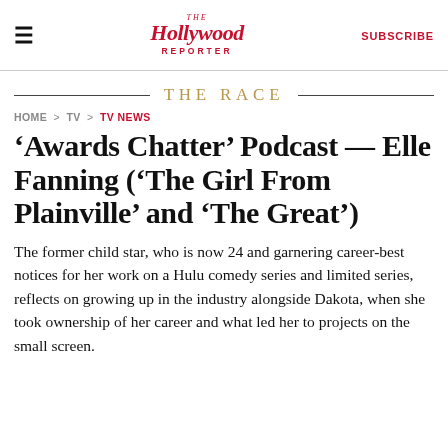The Hollywood Reporter — SUBSCRIBE
THE RACE
HOME > TV > TV NEWS
'Awards Chatter' Podcast — Elle Fanning ('The Girl From Plainville' and 'The Great')
The former child star, who is now 24 and garnering career-best notices for her work on a Hulu comedy series and limited series, reflects on growing up in the industry alongside Dakota, when she took ownership of her career and what led her to projects on the small screen.